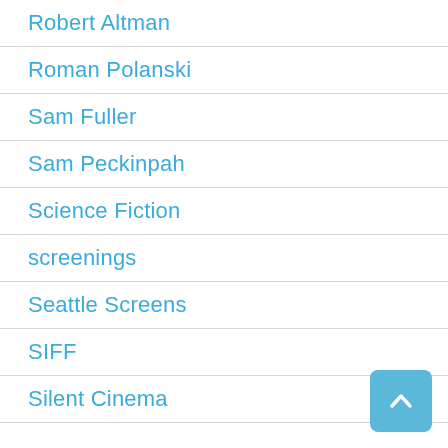Robert Altman
Roman Polanski
Sam Fuller
Sam Peckinpah
Science Fiction
screenings
Seattle Screens
SIFF
Silent Cinema